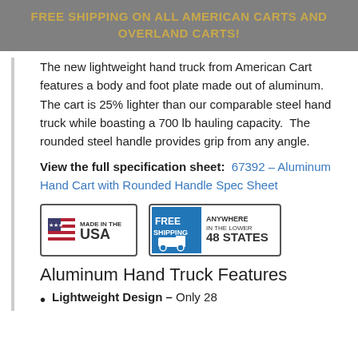FREE SHIPPING ON ALL AMERICAN CARTS AND OVERLAND CARTS!
The new lightweight hand truck from American Cart features a body and foot plate made out of aluminum. The cart is 25% lighter than our comparable steel hand truck while boasting a 700 lb hauling capacity. The rounded steel handle provides grip from any angle.
View the full specification sheet: 67392 – Aluminum Hand Cart with Rounded Handle Spec Sheet
[Figure (logo): Made in the USA badge with American flag graphic]
[Figure (logo): Free Shipping Anywhere in the Lower 48 States badge with truck graphic]
Aluminum Hand Truck Features
Lightweight Design – Only 28